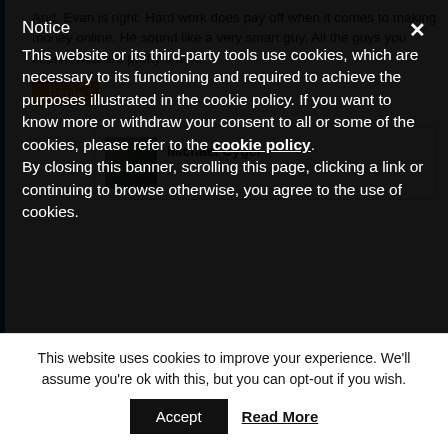Notice
This website or its third-party tools use cookies, which are necessary to its functioning and required to achieve the purposes illustrated in the cookie policy. If you want to know more or withdraw your consent to all or some of the cookies, please refer to the cookie policy.
By closing this banner, scrolling this page, clicking a link or continuing to browse otherwise, you agree to the use of cookies.
And, Evan is right. Hard work does pay off when it comes to making money online. He sound like a very smart guy. All the guys you interviewed are pretty smart.
Reply
Michael Cyger
This website uses cookies to improve your experience. We'll assume you're ok with this, but you can opt-out if you wish.
Accept
Read More